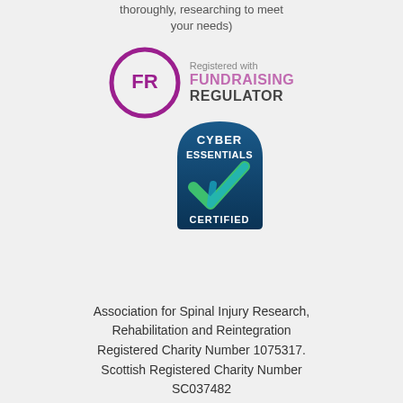thoroughly, researching to meet your needs)
[Figure (logo): Fundraising Regulator logo: purple circle with FR letters and text 'Registered with FUNDRAISING REGULATOR']
[Figure (logo): Cyber Essentials Certified badge: dark blue shield/rounded rectangle with white text 'CYBER ESSENTIALS CERTIFIED' and a teal/green checkmark]
Association for Spinal Injury Research, Rehabilitation and Reintegration Registered Charity Number 1075317. Scottish Registered Charity Number SC037482